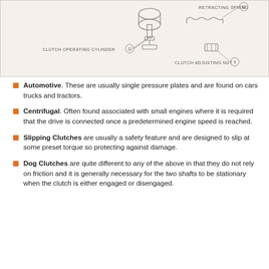[Figure (engineering-diagram): Technical diagram of clutch assembly showing clutch operating cylinder (12), retracting spring (11), and clutch adjusting nut (9) with labeled callout lines.]
Automotive. These are usually single pressure plates and are found on cars trucks and tractors.
Centrifugal. Often found associated with small engines where it is required that the drive is connected once a predetermined engine speed is reached.
Slipping Clutches are usually a safety feature and are designed to slip at some preset torque so protecting against damage.
Dog Clutches are quite different to any of the above in that they do not rely on friction and it is generally necessary for the two shafts to be stationary when the clutch is either engaged or disengaged.